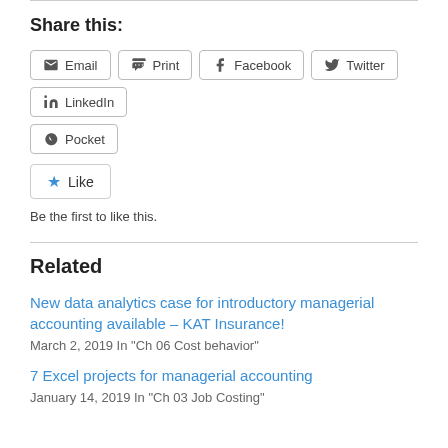Share this:
[Figure (other): Social sharing buttons: Email, Print, Facebook, Twitter, LinkedIn, Pocket]
[Figure (other): Like button with blue star icon]
Be the first to like this.
Related
New data analytics case for introductory managerial accounting available – KAT Insurance!
March 2, 2019
In "Ch 06 Cost behavior"
7 Excel projects for managerial accounting
January 14, 2019
In "Ch 03 Job Costing"